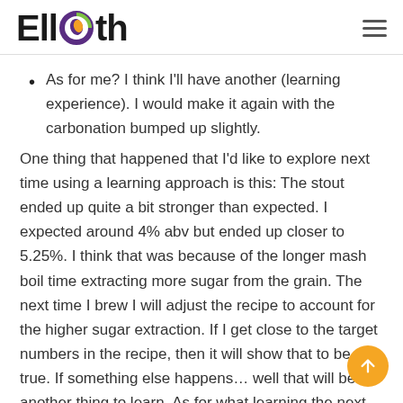Ellioth
As for me? I think I'll have another (learning experience). I would make it again with the carbonation bumped up slightly.
One thing that happened that I'd like to explore next time using a learning approach is this: The stout ended up quite a bit stronger than expected. I expected around 4% abv but ended up closer to 5.25%. I think that was because of the longer mash boil time extracting more sugar from the grain. The next time I brew I will adjust the recipe to account for the higher sugar extraction. If I get close to the target numbers in the recipe, then it will show that to be true. If something else happens… well that will be another thing to learn. As for what learning the next exploration will end...